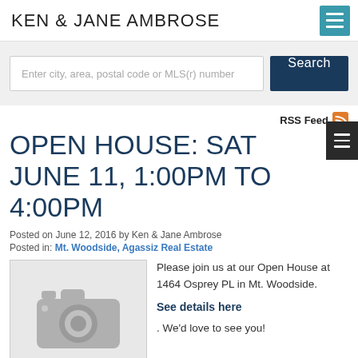KEN & JANE AMBROSE
Enter city, area, postal code or MLS(r) number
Search
RSS Feed
OPEN HOUSE: SAT JUNE 11, 1:00PM TO 4:00PM
Posted on June 12, 2016 by Ken & Jane Ambrose
Posted in: Mt. Woodside, Agassiz Real Estate
[Figure (photo): Camera placeholder image icon on grey background]
Please join us at our Open House at 1464 Osprey PL in Mt. Woodside.
See details here
. We'd love to see you!